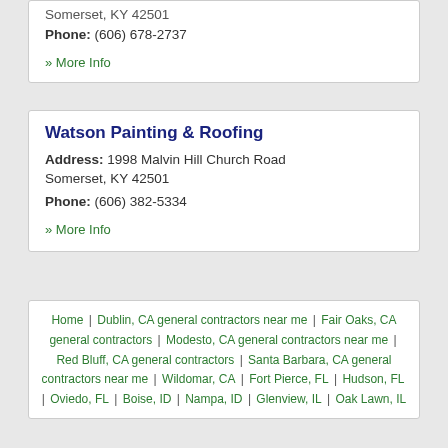Somerset, KY 42501
Phone: (606) 678-2737
» More Info
Watson Painting & Roofing
Address: 1998 Malvin Hill Church Road Somerset, KY 42501
Phone: (606) 382-5334
» More Info
Home | Dublin, CA general contractors near me | Fair Oaks, CA general contractors | Modesto, CA general contractors near me | Red Bluff, CA general contractors | Santa Barbara, CA general contractors near me | Wildomar, CA | Fort Pierce, FL | Hudson, FL | Oviedo, FL | Boise, ID | Nampa, ID | Glenview, IL | Oak Lawn, IL